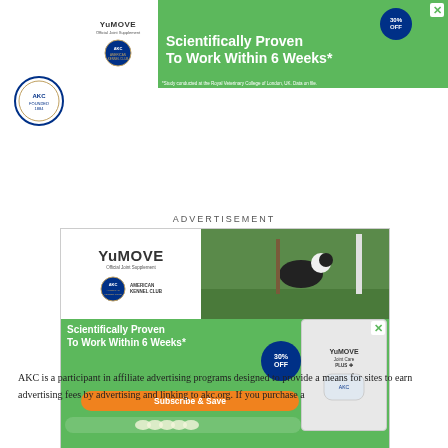[Figure (illustration): Top banner advertisement for YuMOVE showing green background with white logo area on left featuring YuMOVE and American Kennel Club logos, bold white text 'Scientifically Proven To Work Within 6 Weeks*', 30% OFF badge, and close button]
[Figure (logo): American Kennel Club circular logo/seal in blue]
ADVERTISEMENT
[Figure (illustration): Main YuMOVE advertisement showing dog agility photo, YuMOVE branding, 'Scientifically Proven To Work Within 6 Weeks*' text, Subscribe & Save orange button, 30% OFF badge, YuMOVE Joint Care Plus product image, and footnote about Royal Veterinary College study]
AKC is a participant in affiliate advertising programs designed to provide a means for sites to earn advertising fees by advertising and linking to akc.org. If you purchase a